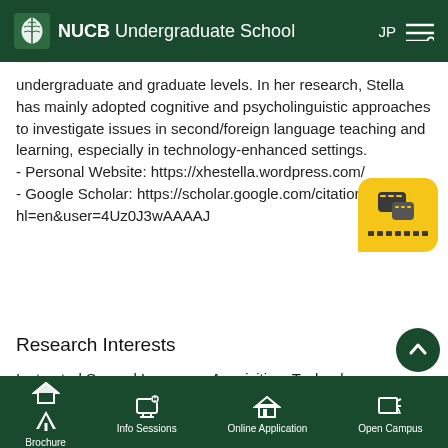NUCB Undergraduate School
undergraduate and graduate levels. In her research, Stella has mainly adopted cognitive and psycholinguistic approaches to investigate issues in second/foreign language teaching and learning, especially in technology-enhanced settings.
- Personal Website: https://xhestella.wordpress.com/
- Google Scholar: https://scholar.google.com/citations?hl=en&user=4Uz0J3wAAAAJ
Research Interests
Instructed Second Language Acquisition, Technology-Enhanced Language Learning, Second Language Vocabulary Acquisition, Second Language Psycholinguistics, Eye-Tracking Technology
Brochure  Info Sessions  Online Application  Open Campus